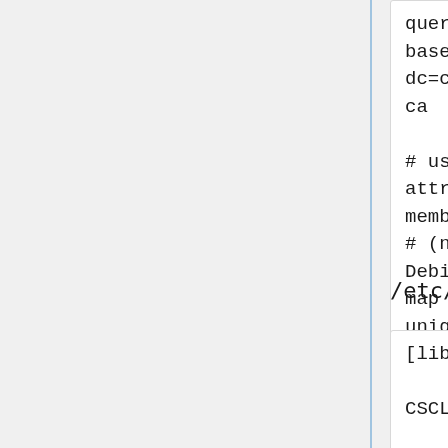queries.
base
dc=csclub,dc=uwaterloo,dc=
ca

# use the uniqueMember
attribute for group
membership
# (not applicable on
Debian squeeze)
map group member
uniqueMember
/etc/krb5.conf
[libdefaults]
        default_realm =
CSCLUB.UWATERLOO.CA
        forwardable = true
        proxiable = true
        dns_lookup_kdc =
false
        dns_lookup_realm =
false